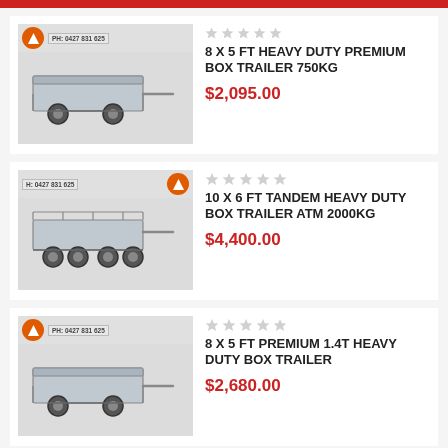[Figure (photo): Product listing: 8 x 5 FT HEAVY DUTY PREMIUM BOX TRAILER 750KG with trailer image and stars]
8 x 5 FT HEAVY DUTY PREMIUM BOX TRAILER 750KG
$2,095.00
[Figure (photo): Product listing: 10 x 6 FT TANDEM HEAVY DUTY BOX TRAILER ATM 2000KG with trailer image and stars]
10 x 6 FT TANDEM HEAVY DUTY BOX TRAILER ATM 2000KG
$4,400.00
[Figure (photo): Product listing: 8 x 5 FT PREMIUM 1.4T HEAVY DUTY BOX TRAILER with trailer image and stars]
8 x 5 FT PREMIUM 1.4T HEAVY DUTY BOX TRAILER
$2,680.00
[Figure (photo): Product listing: 8 x 5 FT TANDEM PREMIUM HEAVY DUTY BOX TRAILER ATM 2000KG with trailer image and stars]
8 x 5 FT TANDEM PREMIUM HEAVY DUTY BOX TRAILER ATM 2000KG